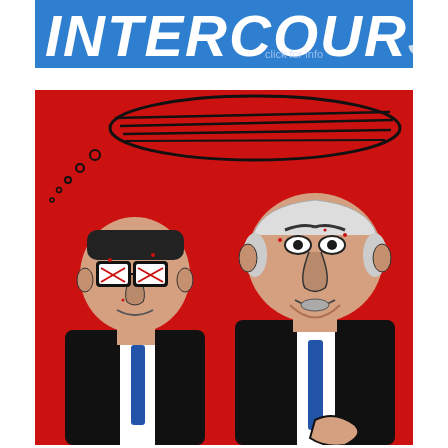[Figure (illustration): Blue banner at top with stylized white hand-lettered text reading 'INTERCOURS' partially visible]
[Figure (illustration): Red background cartoon/caricature illustration showing two men in black suits with blue ties. Left figure is shorter with thick black glasses, right figure is taller with white/grey hair. Both rendered in bold black outlines with red, white, and blue color scheme. A speech bubble with scribbled lines appears above the left figure.]